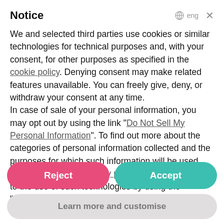Notice
We and selected third parties use cookies or similar technologies for technical purposes and, with your consent, for other purposes as specified in the cookie policy. Denying consent may make related features unavailable. You can freely give, deny, or withdraw your consent at any time.
In case of sale of your personal information, you may opt out by using the link "Do Not Sell My Personal Information". To find out more about the categories of personal information collected and the purposes for which such information will be used, please refer to our privacy policy. You can consent to the use of such technologies by using the "Accept" button. By closing this notice, you continue
Reject
Accept
Learn more and customise